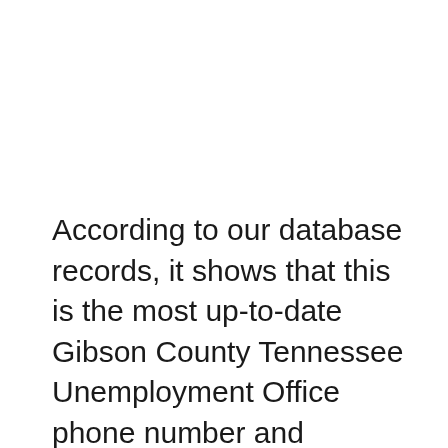According to our database records, it shows that this is the most up-to-date Gibson County Tennessee Unemployment Office phone number and information that is currently available, to contact during normal/regular office hours.